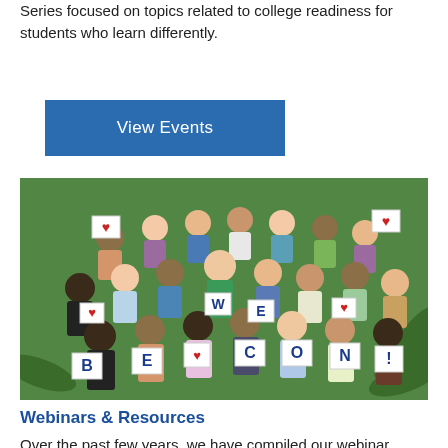Series focused on topics related to college readiness for students who learn differently.
[Figure (other): Blue 'View Events' button]
[Figure (photo): Aerial group photo of students on grass holding signs spelling 'WE BEACON!' with hearts]
Webinars & Resources
Over the past few years, we have compiled our webinar